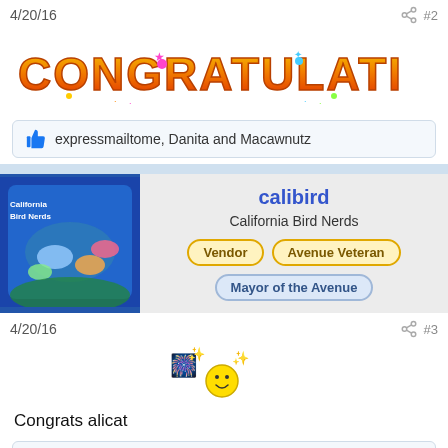4/20/16  #2
[Figure (illustration): Colorful CONGRATULATIONS! text in orange/yellow bubble letters with festive decorations]
expressmailtome, Danita and Macawnutz
[Figure (illustration): California Bird Nerds profile avatar - colorful birds on blue background]
calibird
California Bird Nerds
Vendor  Avenue Veteran  Mayor of the Avenue
4/20/16  #3
[Figure (illustration): Celebration emoji with fireworks and smiley face]
Congrats alicat
expressmailtome, Danita and Macawnuttz
[Figure (illustration): KimKim profile avatar photo]
KimKim